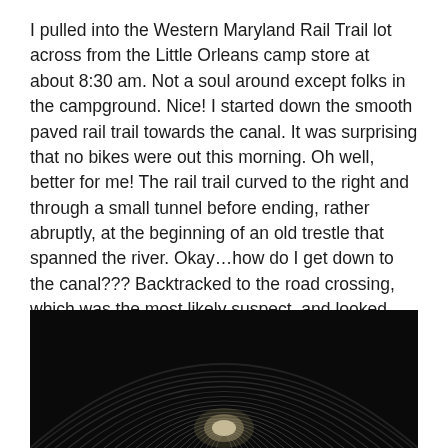I pulled into the Western Maryland Rail Trail lot across from the Little Orleans camp store at about 8:30 am. Not a soul around except folks in the campground. Nice! I started down the smooth paved rail trail towards the canal. It was surprising that no bikes were out this morning. Oh well, better for me! The rail trail curved to the right and through a small tunnel before ending, rather abruptly, at the beginning of an old trestle that spanned the river. Okay…how do I get down to the canal??? Backtracked to the road crossing, which was the most likely suspect, and looked downhill. A PATC sign greeted me…so I went that way. 😀
[Figure (photo): Dark photograph looking through a tunnel showing curved metal ribs/arches in concentric circles leading to a light at the far end.]